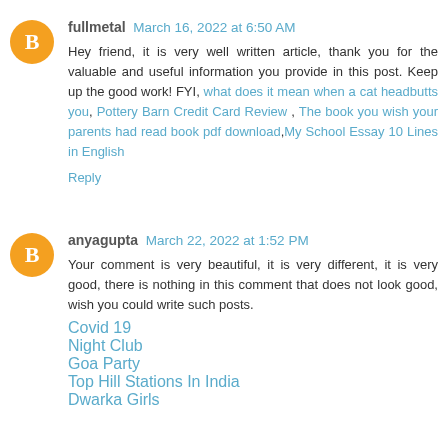fullmetal March 16, 2022 at 6:50 AM
Hey friend, it is very well written article, thank you for the valuable and useful information you provide in this post. Keep up the good work! FYI, what does it mean when a cat headbutts you, Pottery Barn Credit Card Review , The book you wish your parents had read book pdf download,My School Essay 10 Lines in English
Reply
anyagupta March 22, 2022 at 1:52 PM
Your comment is very beautiful, it is very different, it is very good, there is nothing in this comment that does not look good, wish you could write such posts.
Covid 19
Night Club
Goa Party
Top Hill Stations In India
Dwarka Girls